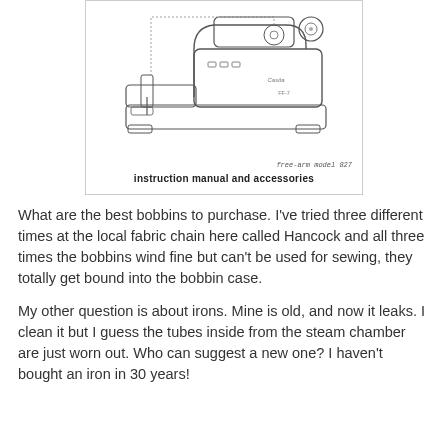[Figure (illustration): Line drawing illustration of a free-arm sewing machine, model 827, with text below reading 'free-arm model 827' and 'instruction manual and accessories']
What are the best bobbins to purchase. I've tried three different times at the local fabric chain here called Hancock and all three times the bobbins wind fine but can't be used for sewing, they totally get bound into the bobbin case.
My other question is about irons. Mine is old, and now it leaks. I clean it but I guess the tubes inside from the steam chamber are just worn out. Who can suggest a new one? I haven't bought an iron in 30 years!